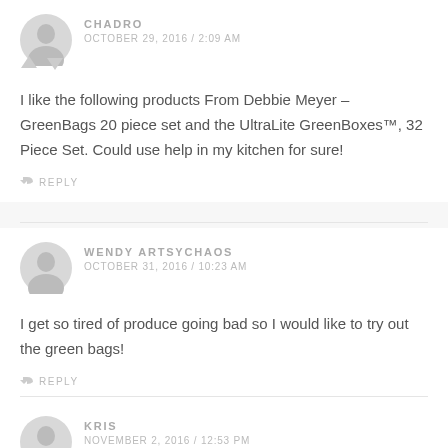CHADRO
OCTOBER 29, 2016 / 2:09 AM
I like the following products From Debbie Meyer – GreenBags 20 piece set and the UltraLite GreenBoxes™, 32 Piece Set. Could use help in my kitchen for sure!
REPLY
WENDY ARTSYCHAOS
OCTOBER 31, 2016 / 10:23 AM
I get so tired of produce going bad so I would like to try out the green bags!
REPLY
KRIS
NOVEMBER 2, 2016 / 12:53 PM